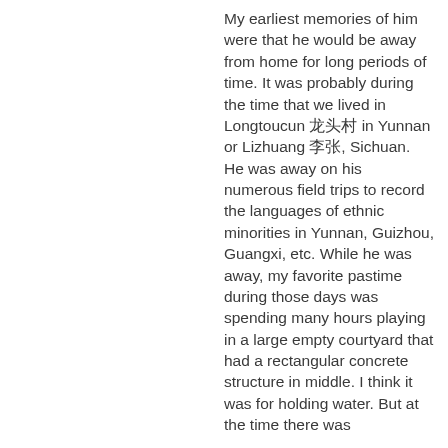My earliest memories of him were that he would be away from home for long periods of time. It was probably during the time that we lived in Longtoucun 龙头村 in Yunnan or Lizhuang 李庄, Sichuan. He was away on his numerous field trips to record the languages of ethnic minorities in Yunnan, Guizhou, Guangxi, etc. While he was away, my favorite pastime during those days was spending many hours playing in a large empty courtyard that had a rectangular concrete structure in middle. I think it was for holding water. But at the time there was